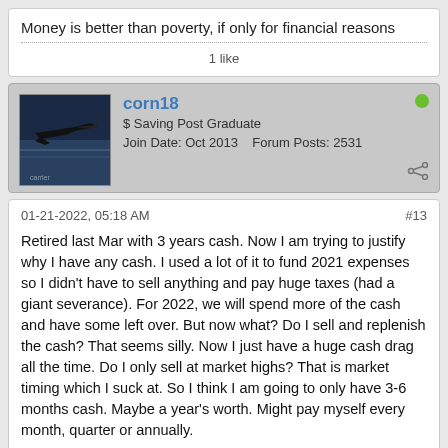Money is better than poverty, if only for financial reasons
1 like
corn18
$ Saving Post Graduate
Join Date: Oct 2013    Forum Posts: 2531
01-21-2022, 05:18 AM
#13
Retired last Mar with 3 years cash. Now I am trying to justify why I have any cash. I used a lot of it to fund 2021 expenses so I didn't have to sell anything and pay huge taxes (had a giant severance). For 2022, we will spend more of the cash and have some left over. But now what? Do I sell and replenish the cash? That seems silly. Now I just have a huge cash drag all the time. Do I only sell at market highs? That is market timing which I suck at. So I think I am going to only have 3-6 months cash. Maybe a year's worth. Might pay myself every month, quarter or annually.
It was nice starting retirement with boatloads of cash, though. One thing I did was include the cash in my AA. That way I wasn't overly conservative with the rest of my portfolio. I will say that life without a paycheck is different...